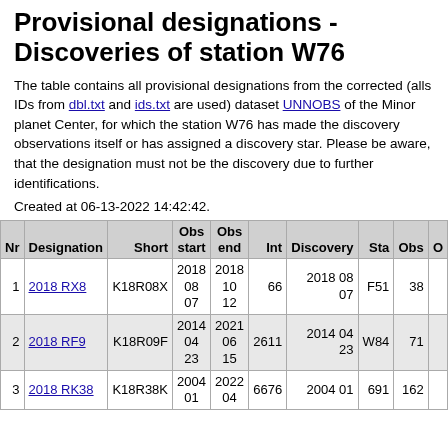Provisional designations - Discoveries of station W76
The table contains all provisional designations from the corrected (alls IDs from dbl.txt and ids.txt are used) dataset UNNOBS of the Minor planet Center, for which the station W76 has made the discovery observations itself or has assigned a discovery star. Please be aware, that the designation must not be the discovery due to further identifications.
Created at 06-13-2022 14:42:42.
| Nr | Designation | Short | Obs start | Obs end | Int | Discovery | Sta | Obs | O |
| --- | --- | --- | --- | --- | --- | --- | --- | --- | --- |
| 1 | 2018 RX8 | K18R08X | 2018 08 07 | 2018 10 12 | 66 | 2018 08 07 | F51 | 38 |  |
| 2 | 2018 RF9 | K18R09F | 2014 04 23 | 2021 06 15 | 2611 | 2014 04 23 | W84 | 71 |  |
| 3 | 2018 RK38 | K18R38K | 2004 01 | 2022 04 | 6676 | 2004 01 | 691 | 162 |  |